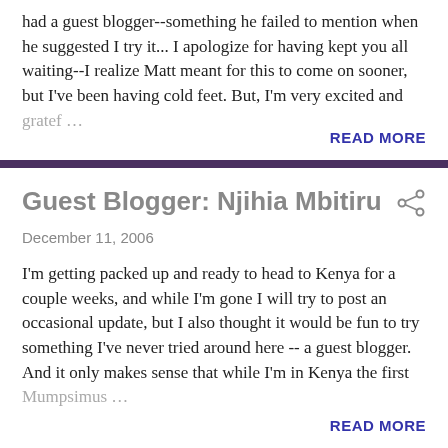had a guest blogger--something he failed to mention when he suggested I try it... I apologize for having kept you all waiting--I realize Matt meant for this to come on sooner, but I've been having cold feet. But, I'm very excited and gratef …
READ MORE
Guest Blogger: Njihia Mbitiru
December 11, 2006
I'm getting packed up and ready to head to Kenya for a couple weeks, and while I'm gone I will try to post an occasional update, but I also thought it would be fun to try something I've never tried around here -- a guest blogger. And it only makes sense that while I'm in Kenya the first Mumpsimus …
READ MORE